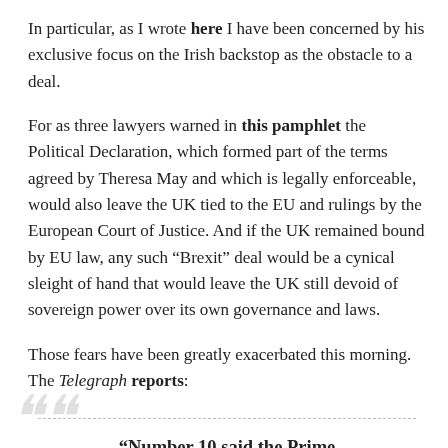In particular, as I wrote here I have been concerned by his exclusive focus on the Irish backstop as the obstacle to a deal.
For as three lawyers warned in this pamphlet the Political Declaration, which formed part of the terms agreed by Theresa May and which is legally enforceable, would also leave the UK tied to the EU and rulings by the European Court of Justice. And if the UK remained bound by EU law, any such “Brexit” deal would be a cynical sleight of hand that would leave the UK still devoid of sovereign power over its own governance and laws.
Those fears have been greatly exacerbated this morning. The Telegraph reports:
“Number 10 said the Prime